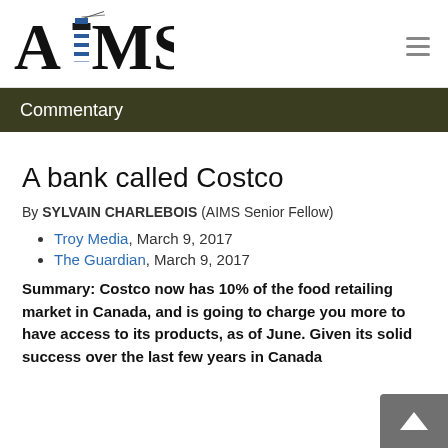[Figure (logo): AIMS logo with lighthouse and stylized text]
Commentary
A bank called Costco
By SYLVAIN CHARLEBOIS (AIMS Senior Fellow)
Troy Media, March 9, 2017
The Guardian, March 9, 2017
Summary: Costco now has 10% of the food retailing market in Canada, and is going to charge you more to have access to its products, as of June. Given its solid success over the last few years in Canada